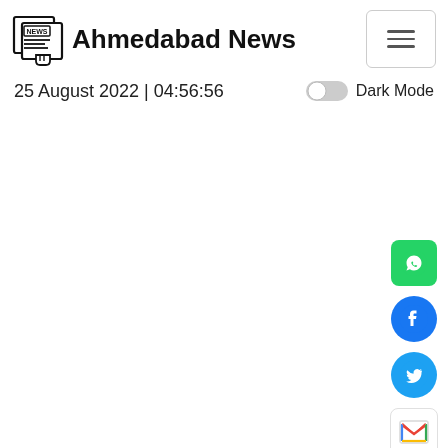Ahmedabad News
25 August 2022 | 04:56:56
[Figure (screenshot): WhatsApp share button (green rounded square)]
[Figure (screenshot): Facebook share button (blue circle with F logo)]
[Figure (screenshot): Twitter share button (light blue circle with bird logo)]
[Figure (screenshot): Gmail share button (white rounded square with M logo)]
[Figure (screenshot): Copy/share button (blue rounded square with overlapping pages icon)]